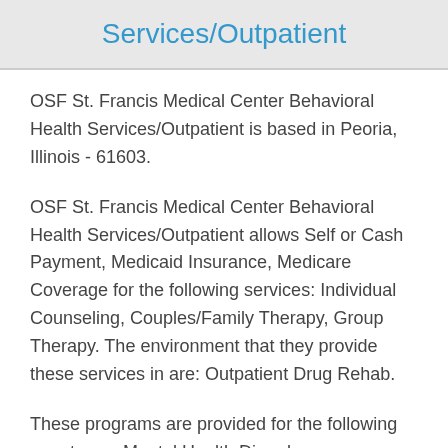Services/Outpatient
OSF St. Francis Medical Center Behavioral Health Services/Outpatient is based in Peoria, Illinois - 61603.
OSF St. Francis Medical Center Behavioral Health Services/Outpatient allows Self or Cash Payment, Medicaid Insurance, Medicare Coverage for the following services: Individual Counseling, Couples/Family Therapy, Group Therapy. The environment that they provide these services in are: Outpatient Drug Rehab.
These programs are provided for the following care types: Mental Health Disorder